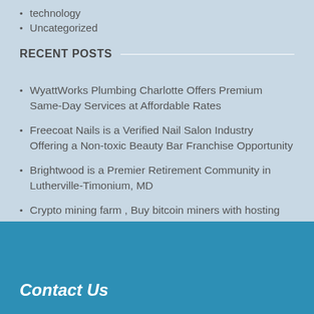technology
Uncategorized
RECENT POSTS
WyattWorks Plumbing Charlotte Offers Premium Same-Day Services at Affordable Rates
Freecoat Nails is a Verified Nail Salon Industry Offering a Non-toxic Beauty Bar Franchise Opportunity
Brightwood is a Premier Retirement Community in Lutherville-Timonium, MD
Crypto mining farm , Buy bitcoin miners with hosting contracts
Presenting Leading Dedicated Server Hosting Provider with New Zealand and Auckland based IP – TheServerHost
Contact Us